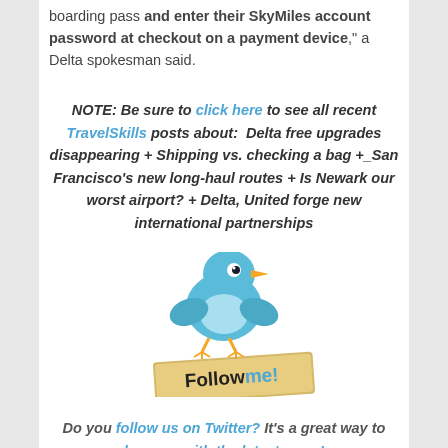boarding pass and enter their SkyMiles account password at checkout on a payment device," a Delta spokesman said.
NOTE: Be sure to click here to see all recent TravelSkills posts about: Delta free upgrades disappearing + Shipping vs. checking a bag +_San Francisco's new long-haul routes + Is Newark our worst airport? + Delta, United forge new international partnerships
[Figure (illustration): Twitter bird cartoon holding a 'Follow me!' sign]
Do you follow us on Twitter? It's a great way to keep up with the latest news!